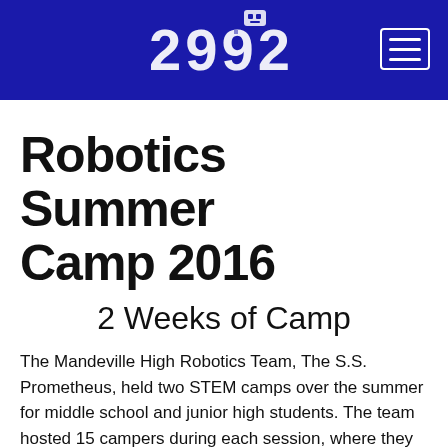2992
Robotics Summer Camp 2016
2 Weeks of Camp
The Mandeville High Robotics Team, The S.S. Prometheus, held two STEM camps over the summer for middle school and junior high students. The team hosted 15 campers during each session, where they learned about robotics, engineering and design. Teams of campers built robots with